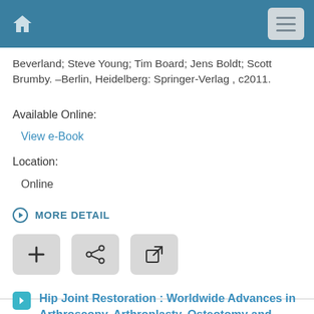Home | Menu
Beverland; Steve Young; Tim Board; Jens Boldt; Scott Brumby. –Berlin, Heidelberg: Springer-Verlag , c2011.
Available Online:
View e-Book
Location:
Online
MORE DETAIL
[Figure (other): Three action buttons: plus (+), share (<), and external link icons]
Hip Joint Restoration : Worldwide Advances in Arthroscopy, Arthroplasty, Osteotomy and Joint Preservation Surgery